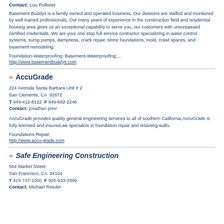Contact: Lou Pollister
Basement Buddys is a family owned and operated business. Our divisions are staffed and monitored by well trained professionals. Our many years of experience in the construction field and residential housing area gives us an exceptional capability to serve you, our customers with unsurpassed certified credentials. We are your one stop full service contractor specializing in water control systems, sump pumps, dampness, crack repair, stone foundations, mold, crawl spaces, and basement remodeling.
Foundation-Waterproofing; Basement-Waterproofing;...
http://www.basementbuddys.com
» AccuGrade
224 Avenida Santa Barbara Unit # 2
San Clemente, CA  92672
T 949-412-8122  F 949-682-2246
Contact: jonathan prior
AccuGrade provides quality general engineering services to all of southern California,AccuGrade is fully licensed and insured,we specialize in foundation repair and retaining walls.
Foundations-Repair
http://www.accu-grade.com
» Safe Engineering Construction
564 Market Street
San Francisco, CA  94104
T 415-747-1000  F 925-933-3399
Contact: Michael Reeder